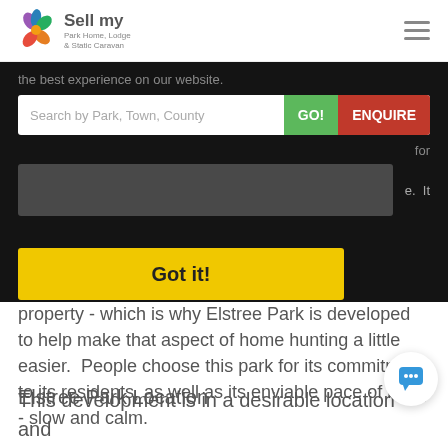[Figure (logo): Sell my Park Home, Lodge & Static Caravan logo with colorful flower icon]
the best experience on our website.
Search by Park, Town, County
Got it!
property - which is why Elstree Park is developed to help make that aspect of home hunting a little easier.  People choose this park for its commitment to its residents, as well as its enviable pace of living - slow and calm.
Elstree Park Location
This development is in a desirable location and